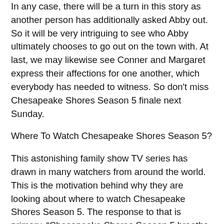In any case, there will be a turn in this story as another person has additionally asked Abby out. So it will be very intriguing to see who Abby ultimately chooses to go out on the town with. At last, we may likewise see Conner and Margaret express their affections for one another, which everybody has needed to witness. So don't miss Chesapeake Shores Season 5 finale next Sunday.
Where To Watch Chesapeake Shores Season 5?
This astonishing family show TV series has drawn in many watchers from around the world. This is the motivation behind why they are looking about where to watch Chesapeake Shores Season 5. The response to that is primary. "Chesapeake Shores Season 5 breaths of air on Sunday at 8 pm ET on Hallmark Channel in the United States." likewise, the show is accessible on the authority site of Hallmark Channel too. Besides, the watchers can go to Netflix, Amazon Prime Video, and Youtube TV to transfer